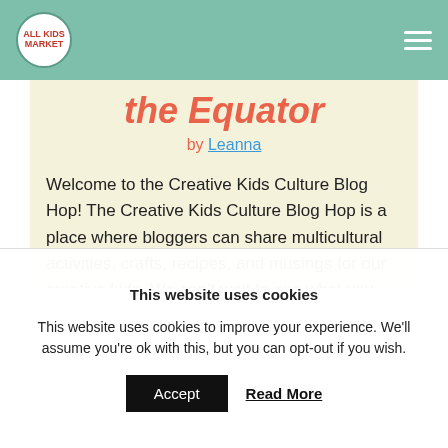All Kids Market (logo) | hamburger menu
the Equator
by Leanna
Welcome to the Creative Kids Culture Blog Hop! The Creative Kids Culture Blog Hop is a place where bloggers can share multicultural activities, crafts, recipes, and musings for our creative kids. We can't wait to see what you share this time! Created by Frances of Discovering the World
This website uses cookies
This website uses cookies to improve your experience. We'll assume you're ok with this, but you can opt-out if you wish.
Accept  Read More